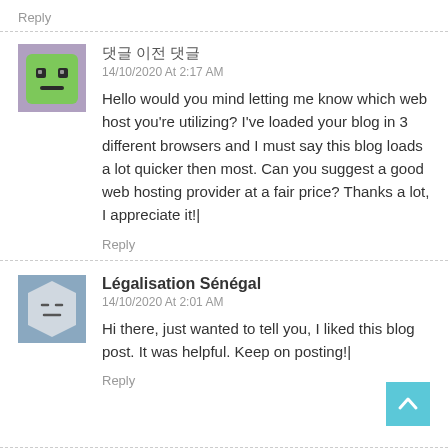Reply
[Figure (illustration): Green square avatar with cartoon face (eyes and mouth)]
댓글 이전 댓글
14/10/2020 At 2:17 AM
Hello would you mind letting me know which web host you're utilizing? I've loaded your blog in 3 different browsers and I must say this blog loads a lot quicker then most. Can you suggest a good web hosting provider at a fair price? Thanks a lot, I appreciate it!|
Reply
[Figure (illustration): Hexagonal avatar with cartoon face (equal eyes and neutral mouth) on blue-grey background]
Légalisation Sénégal
14/10/2020 At 2:01 AM
Hi there, just wanted to tell you, I liked this blog post. It was helpful. Keep on posting!|
Reply